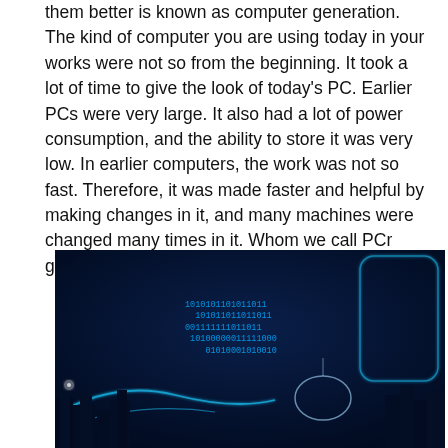them better is known as computer generation. The kind of computer you are using today in your works were not so from the beginning. It took a lot of time to give the look of today's PC. Earlier PCs were very large. It also had a lot of power consumption, and the ability to store it was very low. In earlier computers, the work was not so fast. Therefore, it was made faster and helpful by making changes in it, and many machines were changed many times in it. Whom we call PCr generation.
[Figure (photo): A dark blue digital/technology themed image showing a cityscape silhouette with glowing blue neon circuit-board grid lines overlaid, and binary numbers (0s and 1s) cascading across the image in bright blue text, suggesting a futuristic digital city concept.]